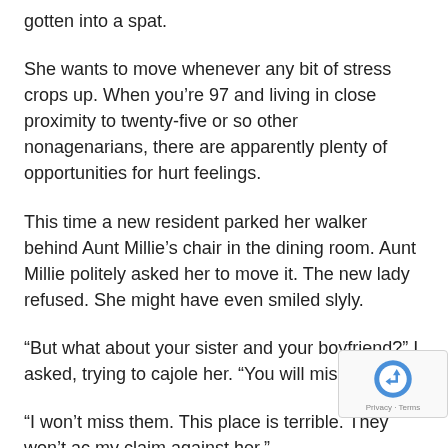gotten into a spat.
She wants to move whenever any bit of stress crops up. When you’re 97 and living in close proximity to twenty-five or so other nonagenarians, there are apparently plenty of opportunities for hurt feelings.
This time a new resident parked her walker behind Aunt Millie’s chair in the dining room. Aunt Millie politely asked her to move it. The new lady refused. She might have even smiled slyly.
“But what about your sister and your boyfriend?” I asked, trying to cajole her. “You will miss them.”
“I won’t miss them. This place is terrible. They won’t ac my claim against her.”
“Your claim?” I asked.